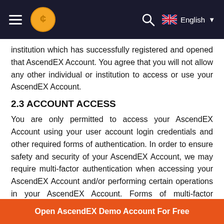AscendEX navigation bar with hamburger menu, logo, search, and English language selector
institution which has successfully registered and opened that AscendEX Account. You agree that you will not allow any other individual or institution to access or use your AscendEX Account.
2.3 ACCOUNT ACCESS
You are only permitted to access your AscendEX Account using your user account login credentials and other required forms of authentication. In order to ensure safety and security of your AscendEX Account, we may require multi-factor authentication when accessing your AscendEX Account and/or performing certain operations in your AscendEX Account. Forms of multi-factor authentication, in addition to your login
Open AscendEX Demo Account For Free